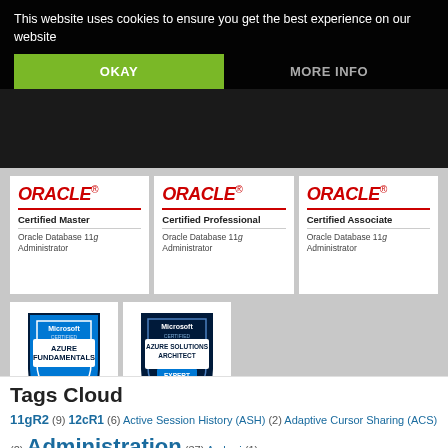This website uses cookies to ensure you get the best experience on our website
OKAY | MORE INFO
[Figure (logo): Oracle Certified Master - Oracle Database 11g Administrator badge]
[Figure (logo): Oracle Certified Professional - Oracle Database 11g Administrator badge]
[Figure (logo): Oracle Certified Associate - Oracle Database 11g Administrator badge]
[Figure (logo): Microsoft Certified Azure Fundamentals badge]
[Figure (logo): Microsoft Certified Azure Solutions Architect Expert badge]
Tags Cloud
11gR2 (9) 12cR1 (6) Active Session History (ASH) (2) Adaptive Cursor Sharing (ACS) (2) Administration (37) Ambari (1)